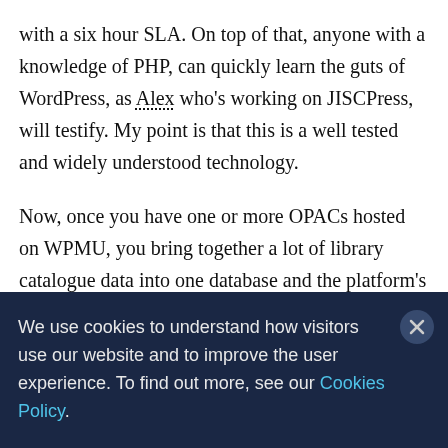with a six hour SLA. On top of that, anyone with a knowledge of PHP, can quickly learn the guts of WordPress, as Alex who's working on JISCPress, will testify. My point is that this is a well tested and widely understood technology.
Now, once you have one or more OPACs hosted on WPMU, you bring together a lot of library catalogue data into one database and the platform's web analytics (i.e. usage trends) can be a rich source of data for learning about what library users are
We use cookies to understand how visitors use our website and to improve the user experience. To find out more, see our Cookies Policy.